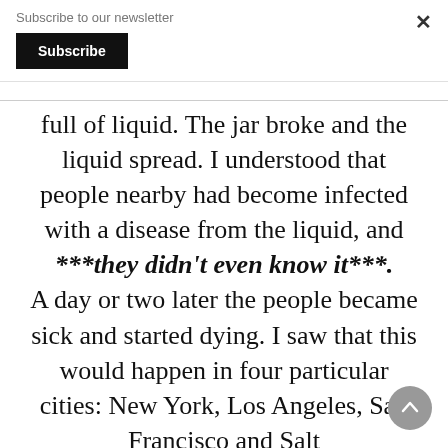Subscribe to our newsletter
Subscribe
full of liquid. The jar broke and the liquid spread. I understood that people nearby had become infected with a disease from the liquid, and ***they didn't even know it***. A day or two later the people became sick and started dying. I saw that this would happen in four particular cities: New York, Los Angeles, San Francisco and Salt Lake City...